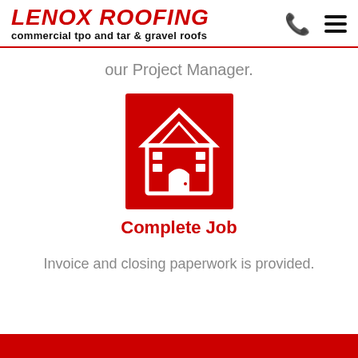LENOX ROOFING commercial tpo and tar & gravel roofs
our Project Manager.
[Figure (illustration): Red square icon with white outline of a house/building with roof, windows, arched door, and brick details — representing 'Complete Job']
Complete Job
Invoice and closing paperwork is provided.